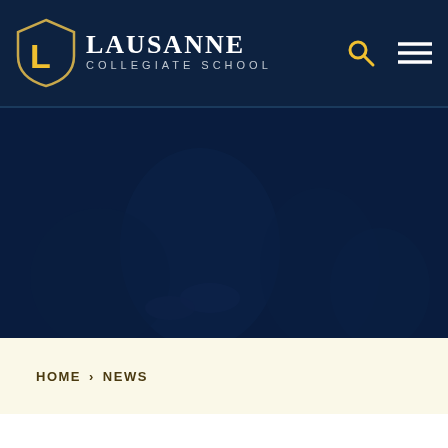[Figure (logo): Lausanne Collegiate School logo with shield emblem containing a gold L on navy background, alongside school name in white serif text]
[Figure (photo): Dark navy-tinted hero banner photo showing students looking at a tablet/device, heavily overlaid with dark blue tint]
HOME > NEWS
English